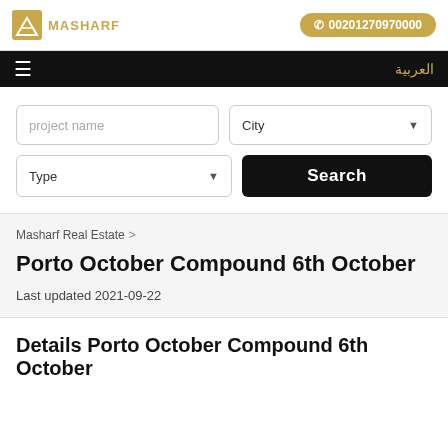[Figure (logo): Masharf real estate logo with geometric icon and text]
00201270970000
العربية
project name
City
Type
Search
Masharf Real Estate >
Porto October Compound 6th October
Last updated 2021-09-22
Details Porto October Compound 6th October